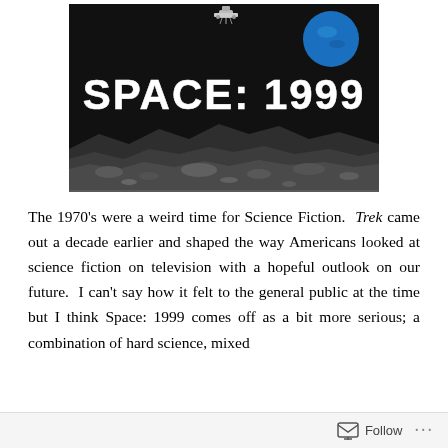[Figure (photo): Black and white promotional image for the TV show 'Space: 1999'. Large bold white text reads 'SPACE: 1999' against a dark background. A blue planet is visible at the upper right. A spacecraft appears at the top. The lower portion shows a rocky lunar surface.]
The 1970's were a weird time for Science Fiction. Trek came out a decade earlier and shaped the way Americans looked at science fiction on television with a hopeful outlook on our future. I can't say how it felt to the general public at the time but I think Space: 1999 comes off as a bit more serious; a combination of hard science, mixed with…
Follow …